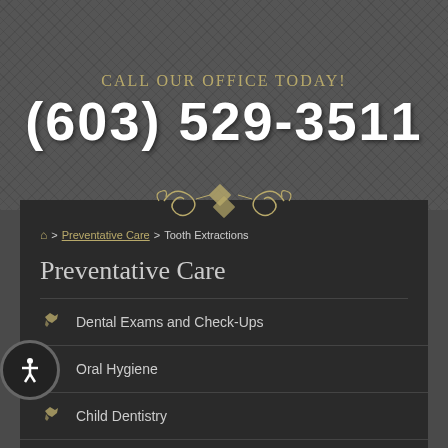CALL OUR OFFICE TODAY!
(603) 529-3511
[Figure (illustration): Decorative ornamental divider in gold/olive tones]
🏠 > Preventative Care > Tooth Extractions
Preventative Care
Dental Exams and Check-Ups
Oral Hygiene
Child Dentistry
Teeth Cleaning